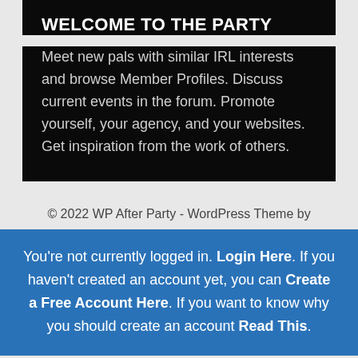WELCOME TO THE PARTY
Meet new pals with similar IRL interests and browse Member Profiles. Discuss current events in the forum. Promote yourself, your agency, and your websites. Get inspiration from the work of others.
© 2022 WP After Party - WordPress Theme by
You're not currently logged in. Login Here. If you haven't created an account yet, you can Create a Free Account Here. If you want to know why you should create an account Read This.